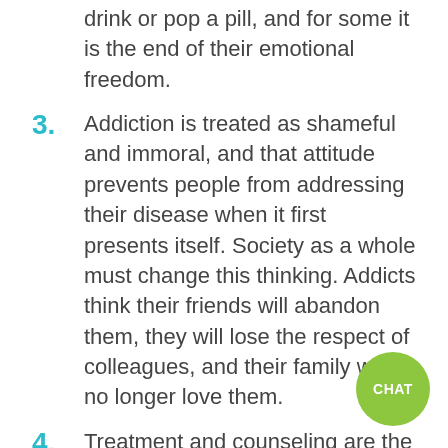drink or pop a pill, and for some it is the end of their emotional freedom.
3. Addiction is treated as shameful and immoral, and that attitude prevents people from addressing their disease when it first presents itself. Society as a whole must change this thinking. Addicts think their friends will abandon them, they will lose the respect of colleagues, and their family will no longer love them.
4. Treatment and counseling are the best options for people suffering addiction. We don't jail people for having cancer, and addiction is...